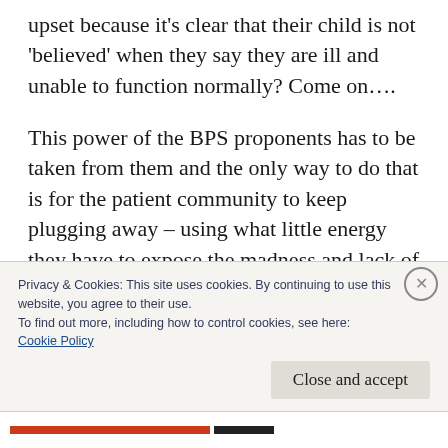upset because it's clear that their child is not 'believed' when they say they are ill and unable to function normally? Come on….
This power of the BPS proponents has to be taken from them and the only way to do that is for the patient community to keep plugging away – using what little energy they have to expose the madness and lack of veracity that is the BPS model. Thankfully we now also have some very reputable international scientists
Privacy & Cookies: This site uses cookies. By continuing to use this website, you agree to their use.
To find out more, including how to control cookies, see here:
Cookie Policy